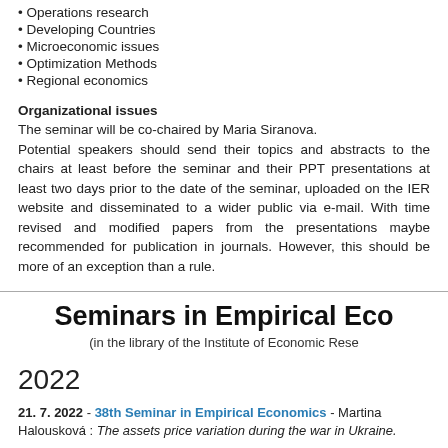• Operations research
• Developing Countries
• Microeconomic issues
• Optimization Methods
• Regional economics
Organizational issues
The seminar will be co-chaired by Maria Siranova.
Potential speakers should send their topics and abstracts to the chairs at least before the seminar and their PPT presentations at least two days prior to the date of the seminar, uploaded on the IER website and disseminated to a wider public via e-mail. With time revised and modified papers from the presentations maybe recommended for publication in journals. However, this should be more of an exception than a rule.
Seminars in Empirical Eco…
(in the library of the Institute of Economic Rese…)
2022
21. 7. 2022 - 38th Seminar in Empirical Economics - Martina Halousková : The assets price variation during the war in Ukraine.